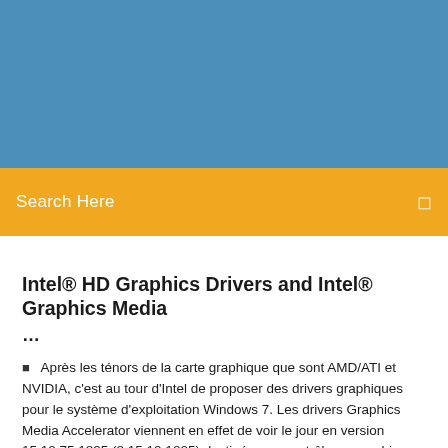[Figure (illustration): Blue banner/header area at the top of a webpage]
Search Here
Intel® HD Graphics Drivers and Intel® Graphics Media ...
Après les ténors de la carte graphique que sont AMD/ATI et NVIDIA, c'est au tour d'Intel de proposer des drivers graphiques pour le système d'exploitation Windows 7. Les drivers Graphics Media Accelerator viennent en effet de voir le jour en version 15.12.75.1825 (8.15.10.1825) destinée aux contrôleurs graphiques